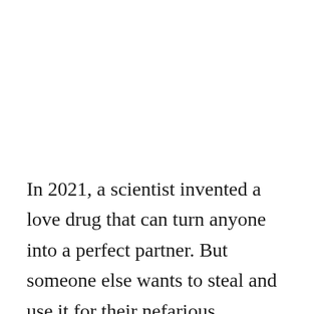In 2021, a scientist invented a love drug that can turn anyone into a perfect partner. But someone else wants to steal and use it for their nefarious purposes. This sci-fi series is a dystopian retelling of the classic